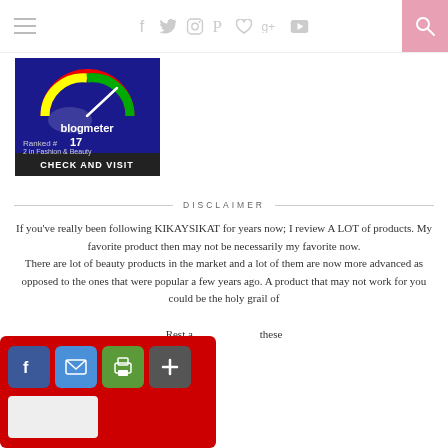Navigation bar with hamburger menu, social icons (Facebook, Twitter, Instagram, Pinterest, Heart, Google+, YouTube), and search button
[Figure (screenshot): Blogmeter badge showing: Ranked #17, 2 in Fashion & Beauty, Views Today: 135, CHECK AND VISIT]
DISCLAIMER
If you've really been following KIKAYSIKAT for years now; I review A LOT of products. My favorite product then may not be necessarily my favorite now. There are lot of beauty products in the market and a lot of them are now more advanced as opposed to the ones that were popular a few years ago. A product that may not work for you could be the holy grail of Rest assured though, these
[Figure (screenshot): Social sharing overlay with red background, Facebook (blue), Email (blue), Print (green) buttons, plus button and blank white button]